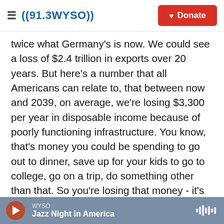≡ ((91.3WYSO))  [Donate button]
twice what Germany's is now. We could see a loss of $2.4 trillion in exports over 20 years. But here's a number that all Americans can relate to, that between now and 2039, on average, we're losing $3,300 per year in disposable income because of poorly functioning infrastructure. You know, that's money you could be spending to go out to dinner, save up for your kids to go to college, go on a trip, do something other than that. So you're losing that money - it's $9 a day - when you could be investing about $5 a day to make it better.
MCCAMMON: I wonder going forward how much
WYSO  Jazz Night in America